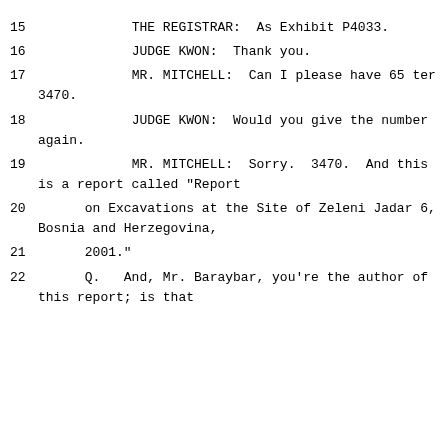15      THE REGISTRAR:  As Exhibit P4033.
16      JUDGE KWON:  Thank you.
17      MR. MITCHELL:  Can I please have 65 ter 3470.
18      JUDGE KWON:  Would you give the number again.
19      MR. MITCHELL:  Sorry.  3470.  And this is a report called "Report
20      on Excavations at the Site of Zeleni Jadar 6, Bosnia and Herzegovina,
21      2001."
22      Q.   And, Mr. Baraybar, you're the author of this report; is that